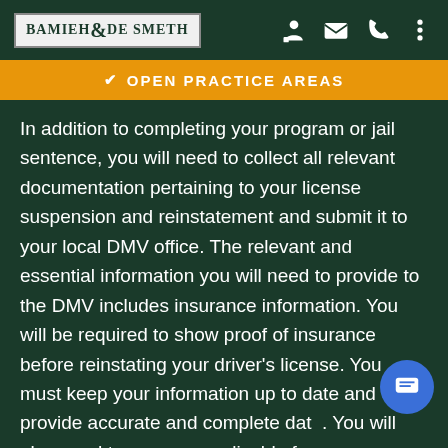BAMIEH & DE SMETH
OPEN PRACTICE AREAS
In addition to completing your program or jail sentence, you will need to collect all relevant documentation pertaining to your license suspension and reinstatement and submit it to your local DMV office. The relevant and essential information you will need to provide to the DMV includes insurance information. You will be required to show proof of insurance before reinstating your driver's license. You must keep your information up to date and provide accurate and complete data. You will also need to pay any applicable fee your case may require, such as reinstatement fees.